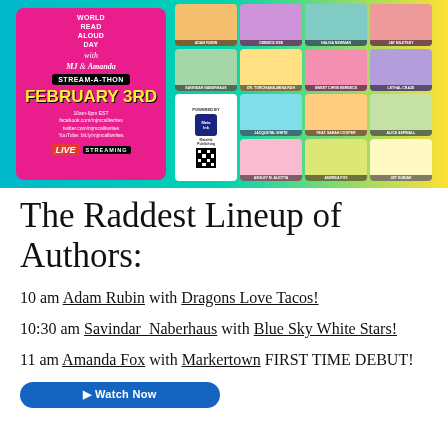[Figure (infographic): World Read Aloud Day Stream-A-Thon promotional banner featuring two illustrated women, multiple author headshots in a grid, event details (February 3rd, 10am-6pm EST), social media links, LIVE STREAMING badge, and MetaInk Publishing logo with QR code.]
The Raddest Lineup of Authors:
10 am Adam Rubin with Dragons Love Tacos!
10:30 am Savindar Naberhaus with Blue Sky White Stars!
11 am Amanda Fox with Markertown FIRST TIME DEBUT!